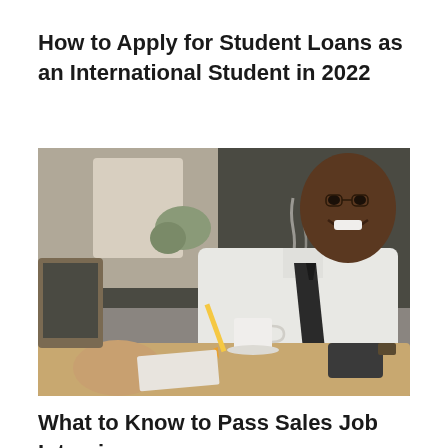How to Apply for Student Loans as an International Student in 2022
[Figure (photo): A smiling man in a white dress shirt and dark tie sitting at a table with a coffee cup, pencil, and phone, appearing to be in a meeting or interview setting]
What to Know to Pass Sales Job Interview